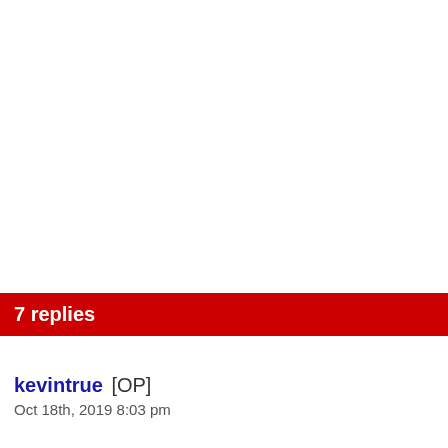7 replies
kevintrue [OP]
Oct 18th, 2019 8:03 pm